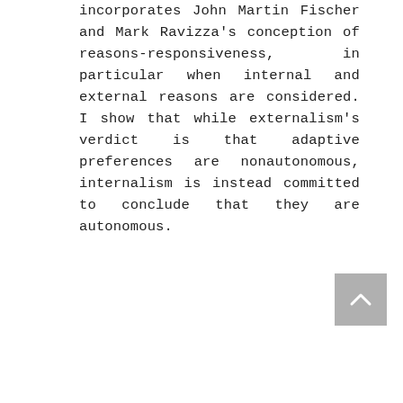incorporates John Martin Fischer and Mark Ravizza's conception of reasons-responsiveness, in particular when internal and external reasons are considered. I show that while externalism's verdict is that adaptive preferences are nonautonomous, internalism is instead committed to conclude that they are autonomous.
[Figure (other): A grey square button with a white upward-pointing chevron/arrow icon, used as a back-to-top navigation button.]